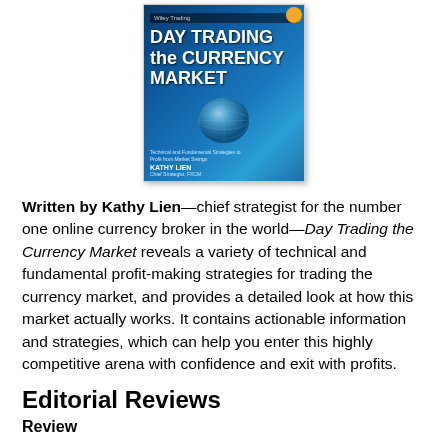[Figure (illustration): Book cover of 'Day Trading the Currency Market' by Kathy Lien, published by Wiley Trading. Blue cover with globe image. Subtitle: Technical and Fundamental Strategies to Profit from Market Swings.]
Written by Kathy Lien—chief strategist for the number one online currency broker in the world—Day Trading the Currency Market reveals a variety of technical and fundamental profit-making strategies for trading the currency market, and provides a detailed look at how this market actually works. It contains actionable information and strategies, which can help you enter this highly competitive arena with confidence and exit with profits.
Editorial Reviews
Review